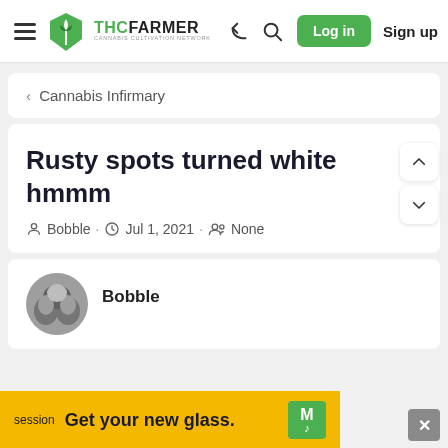THCFarmer - Cannabis Cultivation Network | Log in | Sign up
< Cannabis Infirmary
Rusty spots turned white hmmm
Bobble · Jul 1, 2021 · None
Bobble
session  Get your new glass.